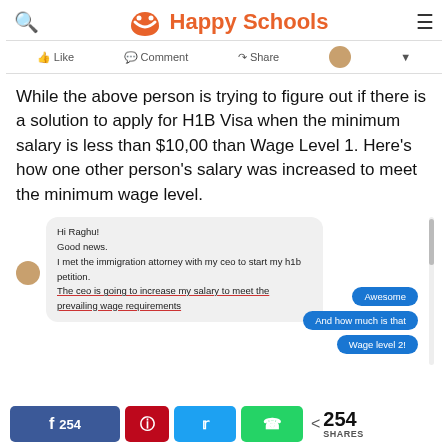Happy Schools
[Figure (screenshot): Facebook-style action bar with Like, Comment, Share buttons and profile avatar]
While the above person is trying to figure out if there is a solution to apply for H1B Visa when the minimum salary is less than $10,00 than Wage Level 1. Here's how one other person's salary was increased to meet the minimum wage level.
[Figure (screenshot): Chat screenshot showing messages: 'Hi Raghu! Good news. I met the immigration attorney with my ceo to start my h1b petition. The ceo is going to increase my salary to meet the prevailing wage requirements' and blue reply bubbles: 'Awesome', 'And how much is that', 'Wage level 2!']
254 SHARES — social share bar with Facebook (254), Pinterest, Twitter, WhatsApp buttons